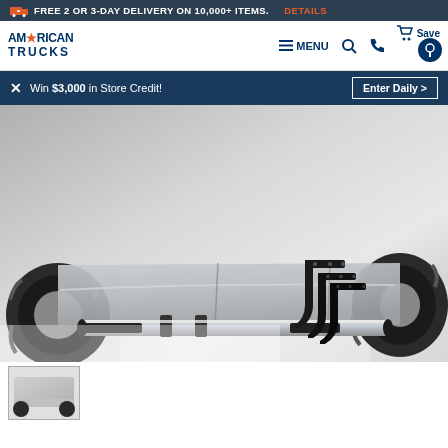🚚 FREE 2 OR 3-DAY DELIVERY ON 10,000+ ITEMS. DETAILS
AMERICAN TRUCKS | MENU | Search | Phone | Save
✕ Win $3,000 in Store Credit! Enter Daily >
[Figure (photo): Side view of a silver pickup truck with a chrome/polished running board side step installed along the rocker panel. Two black mounting brackets are shown separately in the lower right corner.]
[Figure (photo): Thumbnail image showing a side view of a white truck with running boards installed.]